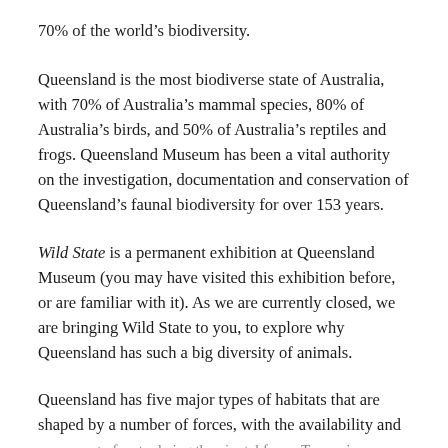70% of the world’s biodiversity.
Queensland is the most biodiverse state of Australia, with 70% of Australia’s mammal species, 80% of Australia’s birds, and 50% of Australia’s reptiles and frogs. Queensland Museum has been a vital authority on the investigation, documentation and conservation of Queensland’s faunal biodiversity for over 153 years.
Wild State is a permanent exhibition at Queensland Museum (you may have visited this exhibition before, or are familiar with it). As we are currently closed, we are bringing Wild State to you, to explore why Queensland has such a big diversity of animals.
Queensland has five major types of habitats that are shaped by a number of forces, with the availability and movement of water being the pivotal force. To survive…